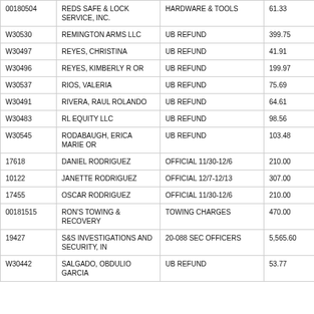| 00180504 | REDS SAFE & LOCK SERVICE, INC. | HARDWARE & TOOLS | 61.33 |
| W30530 | REMINGTON ARMS LLC | UB REFUND | 399.75 |
| W30497 | REYES, CHRISTINA | UB REFUND | 41.91 |
| W30496 | REYES, KIMBERLY R OR | UB REFUND | 199.97 |
| W30537 | RIOS, VALERIA | UB REFUND | 75.69 |
| W30491 | RIVERA, RAUL ROLANDO | UB REFUND | 64.61 |
| W30483 | RL EQUITY LLC | UB REFUND | 98.56 |
| W30545 | RODABAUGH, ERICA MARIE OR | UB REFUND | 103.48 |
| 17618 | DANIEL RODRIGUEZ | OFFICIAL 11/30-12/6 | 210.00 |
| 10122 | JANETTE RODRIGUEZ | OFFICIAL 12/7-12/13 | 307.00 |
| 17455 | OSCAR RODRIGUEZ | OFFICIAL 11/30-12/6 | 210.00 |
| 00181515 | RON'S TOWING & RECOVERY | TOWING CHARGES | 470.00 |
| 19427 | S&S INVESTIGATIONS AND SECURITY, IN | 20-088 SEC OFFICERS | 5,565.60 |
| W30442 | SALGADO, OBDULIO GARCIA | UB REFUND | 53.77 |